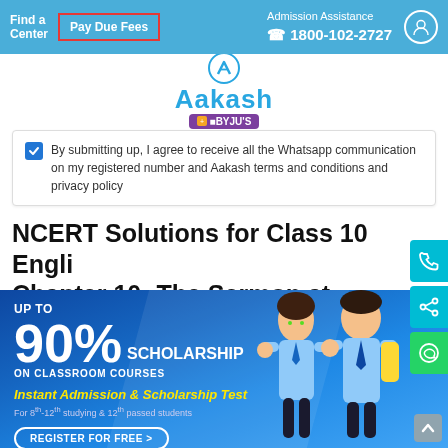Find a Center | Pay Due Fees | Admission Assistance 1800-102-2727
[Figure (logo): Aakash + BYJU'S logo with circular icon on top]
By submitting up, I agree to receive all the Whatsapp communication on my registered number and Aakash terms and conditions and privacy policy
NCERT Solutions for Class 10 English Chapter 10- The Sermon at Benares
[Figure (infographic): Aakash scholarship banner: UP TO 90% SCHOLARSHIP ON CLASSROOM COURSES. Instant Admission & Scholarship Test. For 8th-12th studying & 12th passed students. REGISTER FOR FREE. Shows two students in school uniform.]